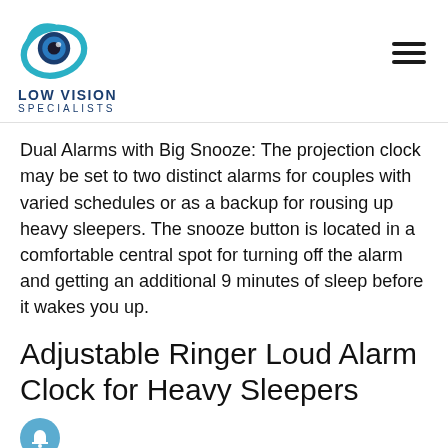LOW VISION SPECIALISTS
Dual Alarms with Big Snooze: The projection clock may be set to two distinct alarms for couples with varied schedules or as a backup for rousing up heavy sleepers. The snooze button is located in a comfortable central spot for turning off the alarm and getting an additional 9 minutes of sleep before it wakes you up.
Adjustable Ringer Loud Alarm Clock for Heavy Sleepers
With the loudest alarm volume, wake up the heavy